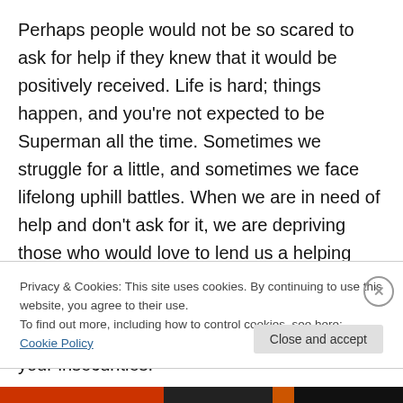Perhaps people would not be so scared to ask for help if they knew that it would be positively received. Life is hard; things happen, and you're not expected to be Superman all the time. Sometimes we struggle for a little, and sometimes we face lifelong uphill battles. When we are in need of help and don't ask for it, we are depriving those who would love to lend us a helping hand. Seeking treatment of any kind means that you are able to identify your problems, face your vulnerabilities and work through your insecurities.
Privacy & Cookies: This site uses cookies. By continuing to use this website, you agree to their use.
To find out more, including how to control cookies, see here: Cookie Policy